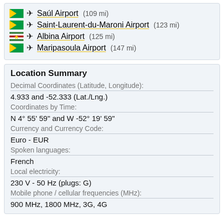Saúl Airport (109 mi)
Saint-Laurent-du-Maroni Airport (123 mi)
Albina Airport (125 mi)
Maripasoula Airport (147 mi)
Location Summary
Decimal Coordinates (Latitude, Longitude):
4.933 and -52.333 (Lat./Lng.)
Coordinates by Time:
N 4° 55' 59" and W -52° 19' 59"
Currency and Currency Code:
Euro - EUR
Spoken languages:
French
Local electricity:
230 V - 50 Hz (plugs: G)
Mobile phone / cellular frequencies (MHz):
900 MHz, 1800 MHz, 3G, 4G